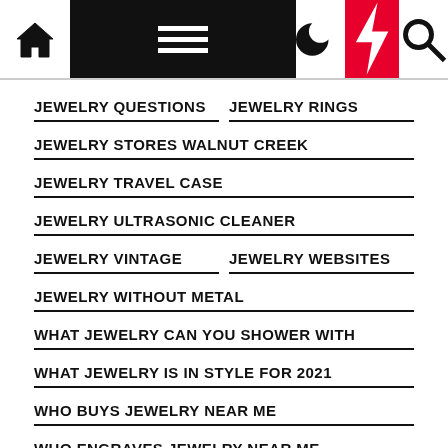Navigation bar with home, menu, moon, bolt, and search icons
JEWELRY QUESTIONS
JEWELRY RINGS
JEWELRY STORES WALNUT CREEK
JEWELRY TRAVEL CASE
JEWELRY ULTRASONIC CLEANER
JEWELRY VINTAGE
JEWELRY WEBSITES
JEWELRY WITHOUT METAL
WHAT JEWELRY CAN YOU SHOWER WITH
WHAT JEWELRY IS IN STYLE FOR 2021
WHO BUYS JEWELRY NEAR ME
WHO ENGRAVES JEWELRY NEAR ME
WHY JEWELRY TURNS GREEN
WILL JEWELRY STORES BUY BACK ENGAGEMENT